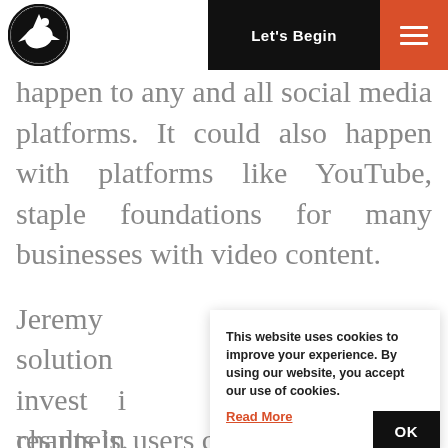[Figure (logo): Circular logo with a bird/eagle silhouette on dark background]
Let's Begin
happen to any and all social media platforms. It could also happen with platforms like YouTube, staple foundations for many businesses with video content.
Jeremy explains that the only solution to invest in channels. results in users coming directly to
This website uses cookies to improve your experience. By using our website, you accept our use of cookies. Read More OK